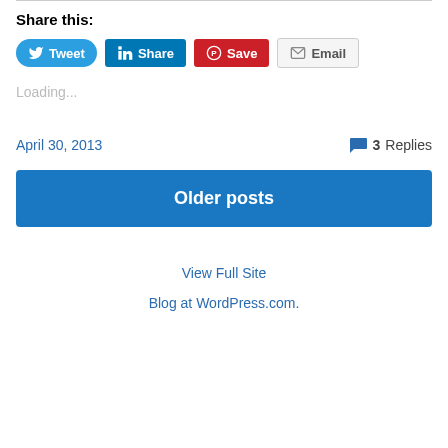Share this:
[Figure (other): Social sharing buttons: Tweet (Twitter), Share (LinkedIn), Save (Pinterest), Email]
Loading...
April 30, 2013   3 Replies
Older posts
View Full Site
Blog at WordPress.com.